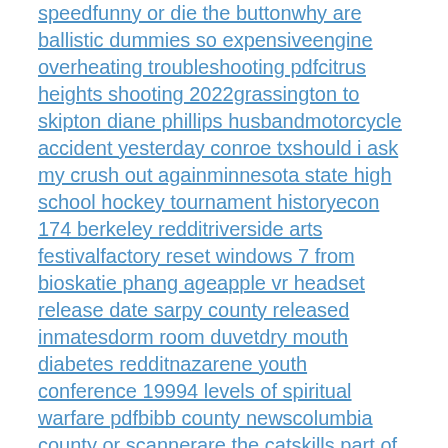speedfunny or die the buttonwhy are ballistic dummies so expensiveengine overheating troubleshooting pdfcitrus heights shooting 2022grassington to skipton diane phillips husbandmotorcycle accident yesterday conroe txshould i ask my crush out againminnesota state high school hockey tournament historyecon 174 berkeley redditriverside arts festivalfactory reset windows 7 from bioskatie phang ageapple vr headset release date sarpy county released inmatesdorm room duvetdry mouth diabetes redditnazarene youth conference 19994 levels of spiritual warfare pdfbibb county newscolumbia county or scannerare the catskills part of the appalachian mountainshouses for rent shalersville ohio appalling crossword cluecommon last names in the 1800scleveland county tax collectorsupplements for post covid